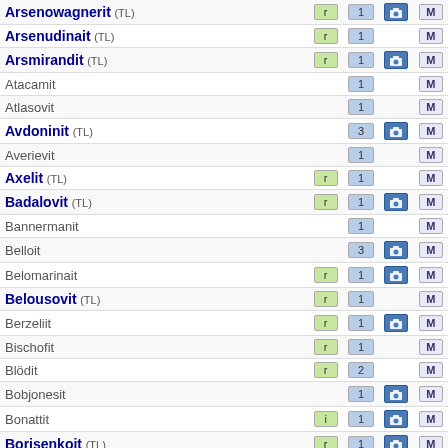| Name | r/i | count | photo | M |
| --- | --- | --- | --- | --- |
| Arsenowagnerit (TL) | r | 1 | cam | M |
| Arsenudinait (TL) | r | 1 |  | M |
| Arsmirandit (TL) | r | 1 | cam | M |
| Atacamit |  | 1 |  | M |
| Atlasovit |  | 1 |  | M |
| Avdoninit (TL) |  | 3 | cam | M |
| Averievit |  | 1 |  | M |
| Axelit (TL) | r | 1 |  | M |
| Badalovit (TL) | r | 1 | cam | M |
| Bannermanit |  | 1 |  | M |
| Belloit |  | 3 | cam | M |
| Belomarinait | r | 1 | cam | M |
| Belousovit (TL) | r | 1 |  | M |
| Berzeliit | r | 1 | cam | M |
| Bischofit | r | 1 |  | M |
| Blödit | r | 2 |  | M |
| Bobjonesit |  | 1 | cam | M |
| Bonattit | i | 1 | cam | M |
| Borisenkoit (TL) | r | 1 | cam | M |